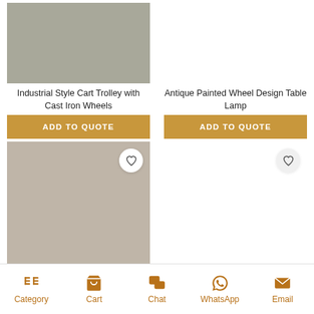[Figure (photo): Gray product image placeholder for Industrial Style Cart Trolley]
[Figure (photo): White/empty product image placeholder for Antique Painted Wheel Design Table Lamp]
Industrial Style Cart Trolley with Cast Iron Wheels
Antique Painted Wheel Design Table Lamp
ADD TO QUOTE
ADD TO QUOTE
[Figure (photo): Taupe/beige product image placeholder with heart/wishlist button]
[Figure (photo): White/empty product image placeholder with heart/wishlist button]
Category  Cart  Chat  WhatsApp  Email